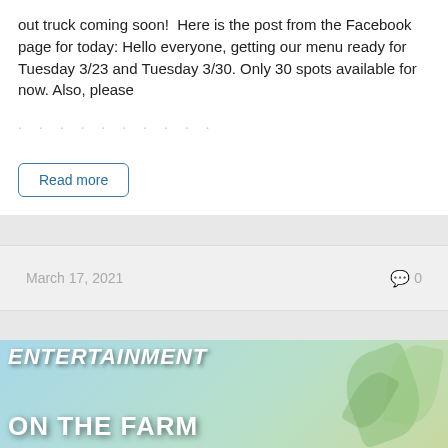out truck coming soon!  Here is the post from the Facebook page for today: Hello everyone, getting our menu ready for Tuesday 3/23 and Tuesday 3/30. Only 30 spots available for now. Also, please
Read more
March 17, 2021    💬 0
[Figure (illustration): Banner image with light blue sky background and green leaves/plant decoration. Text overlay reads 'ENTERTAINMENT' on top line and 'ON THE FARM' on the bottom line in bold white uppercase letters.]
Lazy Acres Easter Egg Hunt
About this Event We're excited to announce our